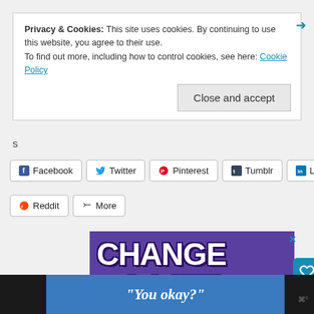Privacy & Cookies: This site uses cookies. By continuing to use this website, you agree to their use.
To find out more, including how to control cookies, see here: Cookie Policy
Close and accept
s
Facebook  Twitter  Pinterest  Tumblr  LinkedIn
Reddit  More
[Figure (screenshot): Purple advertisement banner with bold white text reading 'CHANGE A LIFE' with two cats visible at the bottom, a heart outline icon, and a close X button]
“You okay?”